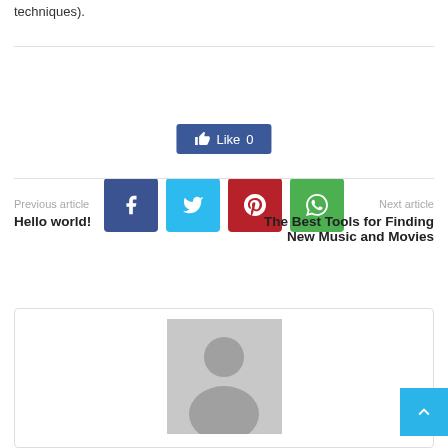techniques).
[Figure (infographic): Facebook Like button showing count of 0, and social share buttons for Facebook, Twitter, Pinterest, and WhatsApp]
Previous article
Hello world!
Next article
The Best Tools for Finding New Music and Movies
[Figure (photo): Default avatar placeholder image showing a grey silhouette of a person]